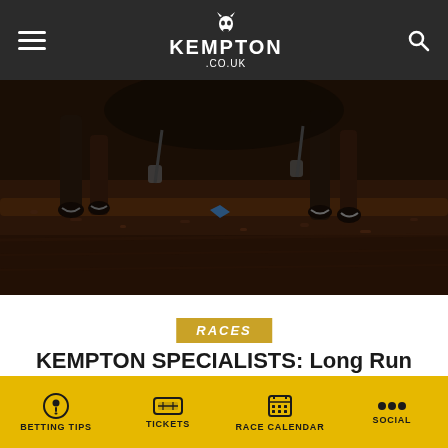KEMPTON .CO.UK
[Figure (photo): Close-up photo of horse hooves and legs jumping over a fence/hurdle, dark background with wood chip ground]
RACES
KEMPTON SPECIALISTS: Long Run
April 21, 2021
Long Run won the King George's Kempton for Nicky Henderson and to name the finest to grace the track.
BETTING TIPS  TICKETS  RACE CALENDAR  SOCIAL